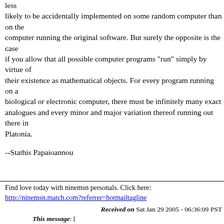less likely to be accidentally implemented on some random computer than on the computer running the original software. But surely the opposite is the case if you allow that all possible computer programs "run" simply by virtue of their existence as mathematical objects. For every program running on a biological or electronic computer, there must be infinitely many exact analogues and every minor and major variation thereof running out there in Platonia.
--Stathis Papaioannou
Find love today with ninemsn personals. Click here: http://ninemsn.match.com?referrer=hotmailtagline
Received on Sat Jan 29 2005 - 06:36:09 PST
This message: [ Message body ] Next message: Hal Ruhl: "RE: Belief Statements" Previous message: Bruno Marchal: "Re: Belief Statements"